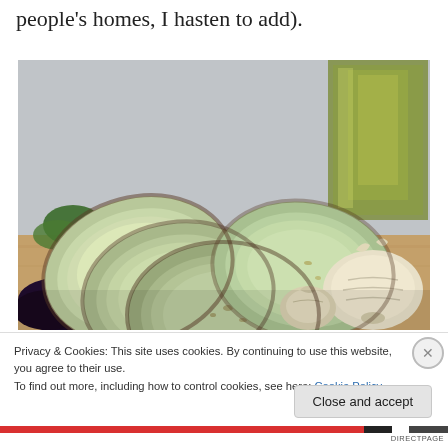people's homes, I hasten to add).
[Figure (photo): Sliced zucchini/eggplant rounds fanned out on a wooden surface, with garlic cloves and a bottle of olive oil in the background.]
Privacy & Cookies: This site uses cookies. By continuing to use this website, you agree to their use.
To find out more, including how to control cookies, see here: Cookie Policy
Close and accept
DIRECTPAGE